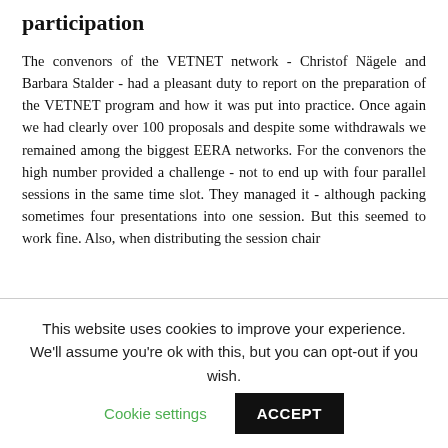participation
The convenors of the VETNET network - Christof Nägele and Barbara Stalder - had a pleasant duty to report on the preparation of the VETNET program and how it was put into practice. Once again we had clearly over 100 proposals and despite some withdrawals we remained among the biggest EERA networks. For the convenors the high number provided a challenge - not to end up with four parallel sessions in the same time slot. They managed it - although packing sometimes four presentations into one session. But this seemed to work fine. Also, when distributing the session chair
This website uses cookies to improve your experience. We'll assume you're ok with this, but you can opt-out if you wish. Cookie settings ACCEPT